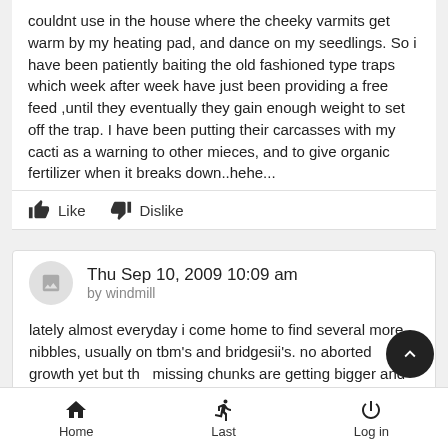couldnt use in the house where the cheeky varmits get warm by my heating pad, and dance on my seedlings. So i have been patiently baiting the old fashioned type traps which week after week have just been providing a free feed ,until they eventually they gain enough weight to set off the trap. I have been putting their carcasses with my cacti as a warning to other mieces, and to give organic fertilizer when it breaks down..hehe...
Like  Dislike
Thu Sep 10, 2009 10:09 am
by windmill
lately almost everyday i come home to find several more nibbles, usually on tbm's and bridgesii's. no aborted growth yet but the missing chunks are getting bigger and theres seemingly more each day.
Home  Last  Log in